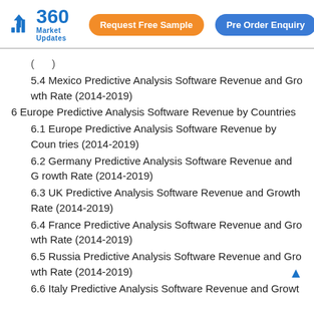360 Market Updates | Request Free Sample | Pre Order Enquiry
5.4 Mexico Predictive Analysis Software Revenue and Growth Rate (2014-2019)
6 Europe Predictive Analysis Software Revenue by Countries
6.1 Europe Predictive Analysis Software Revenue by Countries (2014-2019)
6.2 Germany Predictive Analysis Software Revenue and Growth Rate (2014-2019)
6.3 UK Predictive Analysis Software Revenue and Growth Rate (2014-2019)
6.4 France Predictive Analysis Software Revenue and Growth Rate (2014-2019)
6.5 Russia Predictive Analysis Software Revenue and Growth Rate (2014-2019)
6.6 Italy Predictive Analysis Software Revenue and Growt